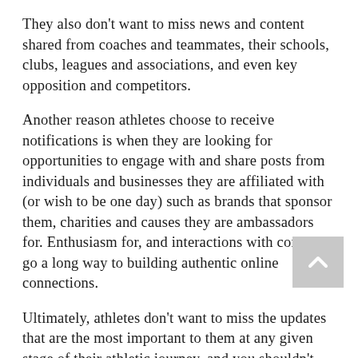They also don't want to miss news and content shared from coaches and teammates, their schools, clubs, leagues and associations, and even key opposition and competitors.
Another reason athletes choose to receive notifications is when they are looking for opportunities to engage with and share posts from individuals and businesses they are affiliated with (or wish to be one day) such as brands that sponsor them, charities and causes they are ambassadors for. Enthusiasm for, and interactions with content go a long way to building authentic online connections.
Ultimately, athletes don't want to miss the updates that are the most important to them at any given stage of their athletic journey, and you shouldn't either.
So why might you turn on Instagram or another social media platforms 'get notifications' options for an account?